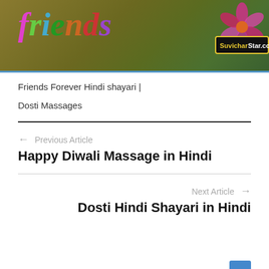[Figure (illustration): Banner image with 'friends' text in colorful letters on a brown/green background with pink flower decoration and SuvicharStar.com watermark]
Friends Forever Hindi shayari |
Dosti Massages
← Previous Article
Happy Diwali Massage in Hindi
Next Article →
Dosti Hindi Shayari in Hindi